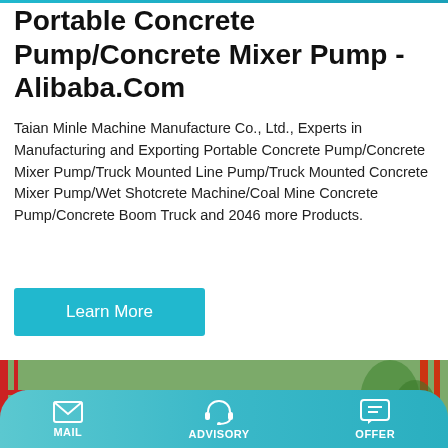Portable Concrete Pump/Concrete Mixer Pump - Alibaba.Com
Taian Minle Machine Manufacture Co., Ltd., Experts in Manufacturing and Exporting Portable Concrete Pump/Concrete Mixer Pump/Truck Mounted Line Pump/Truck Mounted Concrete Mixer Pump/Wet Shotcrete Machine/Coal Mine Concrete Pump/Concrete Boom Truck and 2046 more Products.
Learn More
[Figure (photo): Yellow concrete mixer pump machinery lined up in a row, industrial equipment with motors and hoppers visible, red structural scaffolding in background]
MAIL  ADVISORY  OFFER